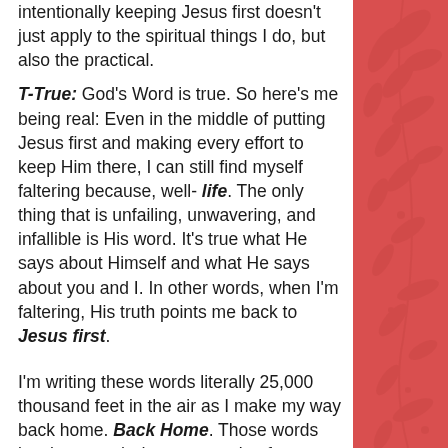intentionally keeping Jesus first doesn't just apply to the spiritual things I do, but also the practical.
T-True: God's Word is true. So here's me being real: Even in the middle of putting Jesus first and making every effort to keep Him there, I can still find myself faltering because, well- life. The only thing that is unfailing, unwavering, and infallible is His word. It's true what He says about Himself and what He says about you and I. In other words, when I'm faltering, His truth points me back to Jesus first.
I'm writing these words literally 25,000 thousand feet in the air as I make my way back home. Back Home. Those words invoke a much deeper meaning for me